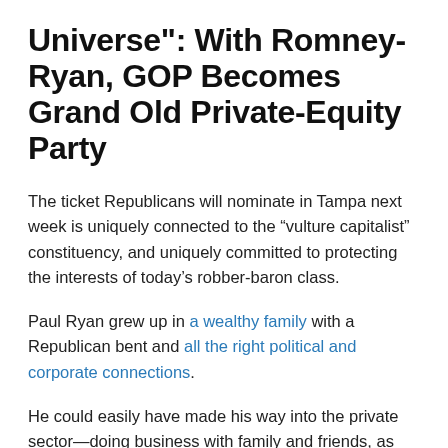Universe": With Romney-Ryan, GOP Becomes Grand Old Private-Equity Party
The ticket Republicans will nominate in Tampa next week is uniquely connected to the “vulture capitalist” constituency, and uniquely committed to protecting the interests of today’s robber-baron class.
Paul Ryan grew up in a wealthy family with a Republican bent and all the right political and corporate connections.
He could easily have made his way into the private sector—doing business with family and friends, as have generations of wealthy Ryans.
But Paul was always the starry-eyed, perhaps wild-eyed.